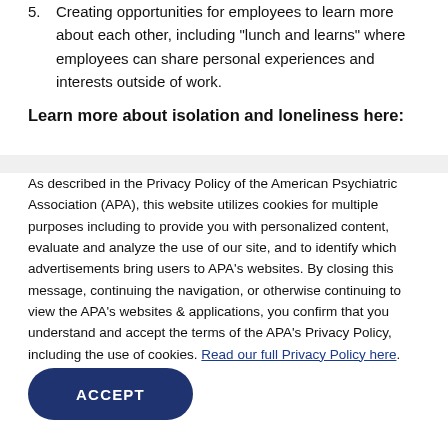5. Creating opportunities for employees to learn more about each other, including "lunch and learns" where employees can share personal experiences and interests outside of work.
Learn more about isolation and loneliness here:
As described in the Privacy Policy of the American Psychiatric Association (APA), this website utilizes cookies for multiple purposes including to provide you with personalized content, evaluate and analyze the use of our site, and to identify which advertisements bring users to APA's websites. By closing this message, continuing the navigation, or otherwise continuing to view the APA's websites & applications, you confirm that you understand and accept the terms of the APA's Privacy Policy, including the use of cookies. Read our full Privacy Policy here.
ACCEPT